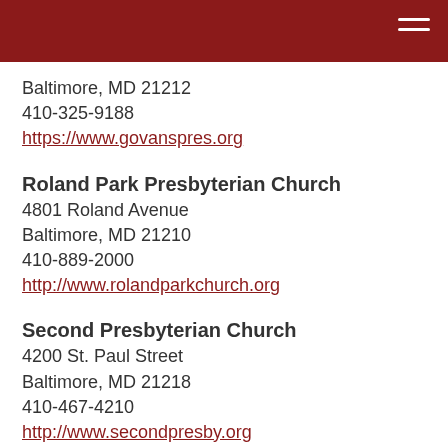Baltimore, MD 21212
410-325-9188
https://www.govanspres.org
Roland Park Presbyterian Church
4801 Roland Avenue
Baltimore, MD 21210
410-889-2000
http://www.rolandparkchurch.org
Second Presbyterian Church
4200 St. Paul Street
Baltimore, MD 21218
410-467-4210
http://www.secondpresby.org